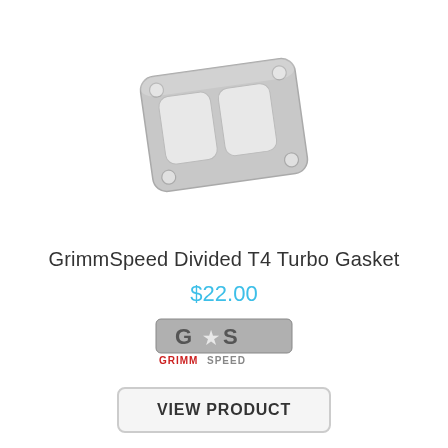[Figure (photo): A metallic divided T4 turbo gasket, slightly angled, with two rectangular cutouts side by side and four mounting holes at the corners.]
GrimmSpeed Divided T4 Turbo Gasket
$22.00
[Figure (logo): GrimmSpeed brand logo with stylized G and star in grey, and 'GRIMMSPEED' text in red and grey below.]
VIEW PRODUCT